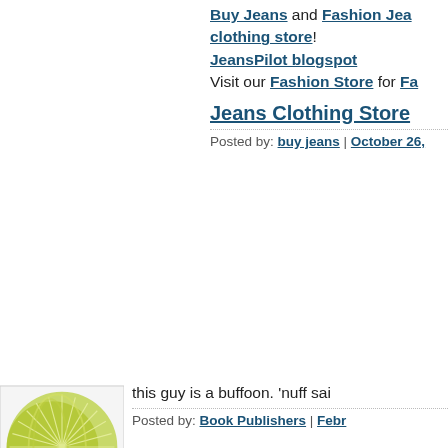Buy Jeans and Fashion Jeans clothing store! JeansPilot blogspot Visit our Fashion Store for Fa...
Jeans Clothing Store
Posted by: buy jeans | October 26,
[Figure (illustration): Green/yellow abstract circular pattern avatar]
this guy is a buffoon. 'nuff sai
Posted by: Book Publishers | Febr...
[Figure (illustration): Blue/grey abstract spiral pattern avatar]
Hello, i think that this post is t good information and help me
Posted by: Invertir en franquicias |
[Figure (illustration): Light blue abstract network/mesh pattern avatar]
It looks to me at least like a w probably won't make any mo... Luck
Posted by: Zooey Deschanel | Sep...